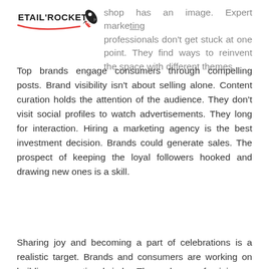ETAIL ROCKET [logo] shop has an image. Expert marketing professionals don't get stuck at one point. They find ways to reinvent the space with different themes.
Top brands engage consumers through compelling posts. Brand visibility isn't about selling alone. Content curation holds the attention of the audience. They don't visit social profiles to watch advertisements. They long for interaction. Hiring a marketing agency is the best investment decision. Brands could generate sales. The prospect of keeping the loyal followers hooked and drawing new ones is a skill.
Sharing joy and becoming a part of celebrations is a realistic target. Brands and consumers are working on building an emotional circle. The exchange of opinions